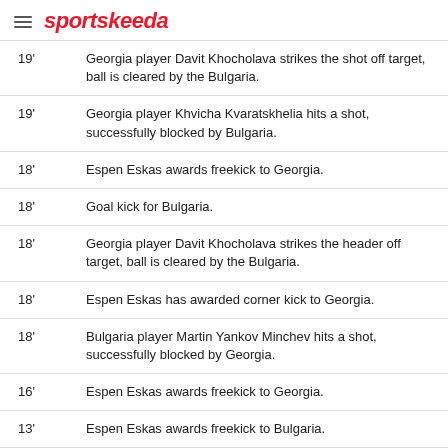sportskeeda
| Time | Event |
| --- | --- |
| 19' | Georgia player Davit Khocholava strikes the shot off target, ball is cleared by the Bulgaria. |
| 19' | Georgia player Khvicha Kvaratskhelia hits a shot, successfully blocked by Bulgaria. |
| 18' | Espen Eskas awards freekick to Georgia. |
| 18' | Goal kick for Bulgaria. |
| 18' | Georgia player Davit Khocholava strikes the header off target, ball is cleared by the Bulgaria. |
| 18' | Espen Eskas has awarded corner kick to Georgia. |
| 18' | Bulgaria player Martin Yankov Minchev hits a shot, successfully blocked by Georgia. |
| 16' | Espen Eskas awards freekick to Georgia. |
| 13' | Espen Eskas awards freekick to Bulgaria. |